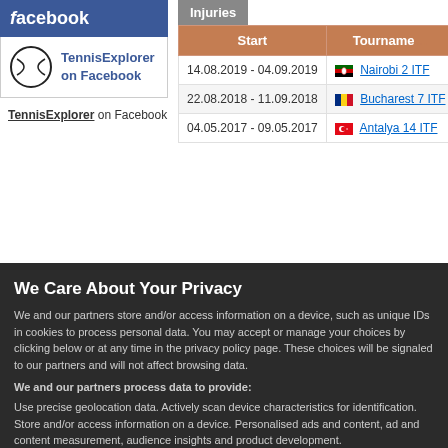[Figure (logo): Facebook logo box with TennisExplorer on Facebook text and tennis ball icon]
TennisExplorer on Facebook
| Start | Tournament |
| --- | --- |
| 14.08.2019 - 04.09.2019 | Nairobi 2 ITF |
| 22.08.2018 - 11.09.2018 | Bucharest 7 ITF |
| 04.05.2017 - 09.05.2017 | Antalya 14 ITF |
« List of players
We Care About Your Privacy
We and our partners store and/or access information on a device, such as unique IDs in cookies to process personal data. You may accept or manage your choices by clicking below or at any time in the privacy policy page. These choices will be signaled to our partners and will not affect browsing data.
We and our partners process data to provide:
Use precise geolocation data. Actively scan device characteristics for identification. Store and/or access information on a device. Personalised ads and content, ad and content measurement, audience insights and product development.